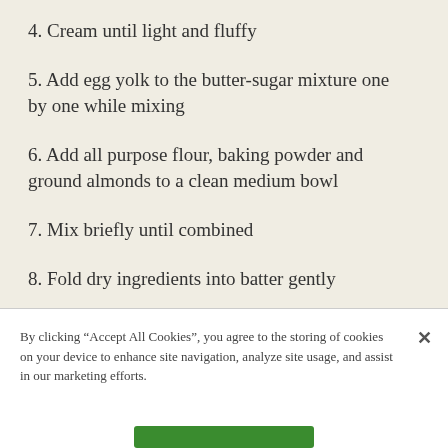4. Cream until light and fluffy
5. Add egg yolk to the butter-sugar mixture one by one while mixing
6. Add all purpose flour, baking powder and ground almonds to a clean medium bowl
7. Mix briefly until combined
8. Fold dry ingredients into batter gently
9. Add orange juice to the batter
By clicking “Accept All Cookies”, you agree to the storing of cookies on your device to enhance site navigation, analyze site usage, and assist in our marketing efforts.